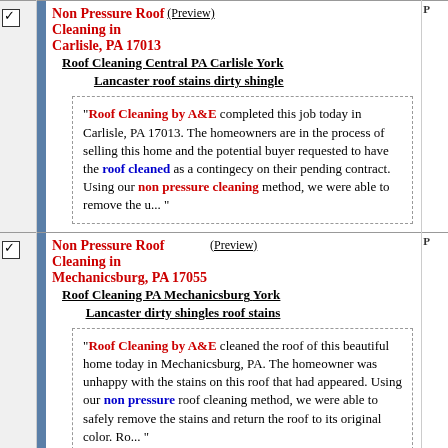Non Pressure Roof Cleaning in Carlisle, PA 17013 (Preview) | Roof Cleaning Central PA Carlisle York Lancaster roof stains dirty shingle
"Roof Cleaning by A&E completed this job today in Carlisle, PA 17013. The homeowners are in the process of selling this home and the potential buyer requested to have the roof cleaned as a contingecy on their pending contract. Using our non pressure cleaning method, we were able to remove the u... "
Non Pressure Roof Cleaning in Mechanicsburg, PA 17055 (Preview) | Roof Cleaning PA Mechanicsburg York Lancaster dirty shingles roof stains
"Roof Cleaning by A&E cleaned the roof of this beautiful home today in Mechanicsburg, PA. The homeowner was unhappy with the stains on this roof that had appeared. Using our non pressure roof cleaning method, we were able to safely remove the stains and return the roof to its original color. Ro... "